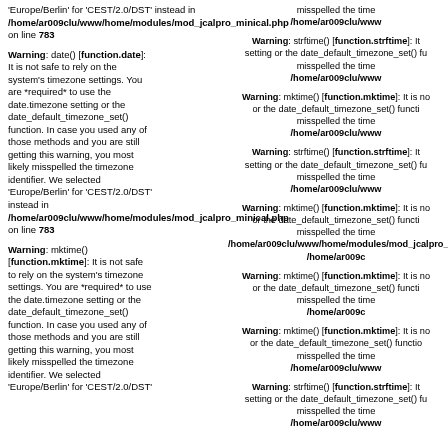'Europe/Berlin' for 'CEST/2.0/DST' instead in /home/ar009clu/www/home/modules/mod_jcalpro_minical.php on line 783
Warning: date() [function.date]: It is not safe to rely on the system's timezone settings. You are *required* to use the date.timezone setting or the date_default_timezone_set() function. In case you used any of those methods and you are still getting this warning, you most likely misspelled the timezone identifier. We selected 'Europe/Berlin' for 'CEST/2.0/DST' instead in /home/ar009clu/www/home/modules/mod_jcalpro_minical.php on line 783
Warning: mktime() [function.mktime]: It is not safe to rely on the system's timezone settings. You are *required* to use the date.timezone setting or the date_default_timezone_set() function. In case you used any of those methods and you are still getting this warning, you most likely misspelled the timezone identifier. We selected 'Europe/Berlin' for 'CEST/2.0/DST'
misspelled the timezone /home/ar009clu/www
Warning: strftime() [function.strftime]: It setting or the date_default_timezone_set() fu misspelled the time /home/ar009clu/www
Warning: mktime() [function.mktime]: It is not safe or the date_default_timezone_set() functi misspelled the time /home/ar009clu/www
Warning: strftime() [function.strftime]: It setting or the date_default_timezone_set() fu misspelled the time /home/ar009clu/www
Warning: mktime() [function.mktime]: It is not safe or the date_default_timezone_set() functi misspelled the time /home/ar009c
Warning: mktime() [function.mktime]: It is not safe or the date_default_timezone_set() functi misspelled the time /home/ar009c
Warning: mktime() [function.mktime]: It is not safe or the date_default_timezone_set() functi misspelled the time /home/ar009clu/www
Warning: strftime() [function.strftime]: It setting or the date_default_timezone_set() fu misspelled the time /home/ar009clu/www